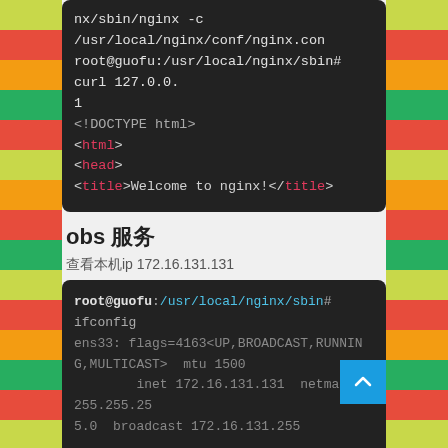[Figure (screenshot): Dark terminal/code block showing nginx command output with DOCTYPE html, html, head, title tags colored in red/pink on dark background]
obs 服务
查看本机ip 172.16.131.131
[Figure (screenshot): Dark terminal block showing root@guofu:/usr/local/nginx/sbin# ifconfig command and ens33 network interface output with inet 172.16.131.131 netmask 255.255.255.0 broadcast 172.16.131.255]